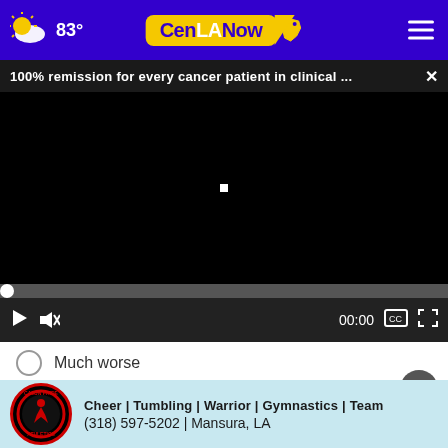83° CenLANow
100% remission for every cancer patient in clinical ... ×
[Figure (screenshot): Black video player area with a small white square in the center, video at 00:00, paused, muted]
Much worse
Other / No opinion
[Figure (other): Cajun Pride Athletics advertisement banner with logo, text: Cheer | Tumbling | Warrior | Gymnastics | Team, (318) 597-5202 | Mansura, LA]